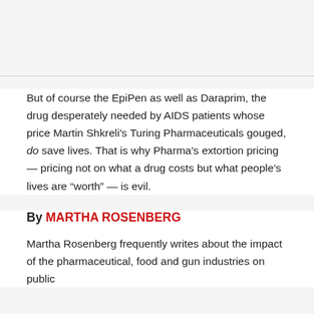But of course the EpiPen as well as Daraprim, the drug desperately needed by AIDS patients whose price Martin Shkreli's Turing Pharmaceuticals gouged, do save lives. That is why Pharma's extortion pricing — pricing not on what a drug costs but what people's lives are “worth” — is evil.
By MARTHA ROSENBERG
Martha Rosenberg frequently writes about the impact of the pharmaceutical, food and gun industries on public